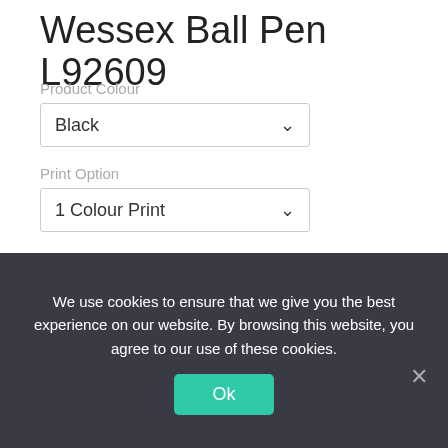Wessex Ball Pen L92609
Product Colour
Black
Print Option
1 Colour Print
Quantity Break
250
[Figure (other): Loading spinner animation indicator]
Prices displayed are for guidance only, and are subject to
We use cookies to ensure that we give you the best experience on our website. By browsing this website, you agree to our use of these cookies.